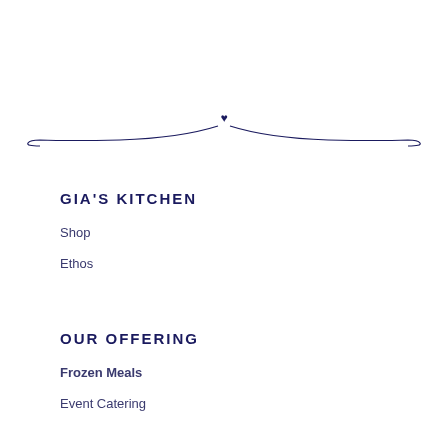[Figure (illustration): Decorative horizontal divider with two curved lines meeting at a small heart shape in the center]
GIA'S KITCHEN
Shop
Ethos
OUR OFFERING
Frozen Meals
Event Catering